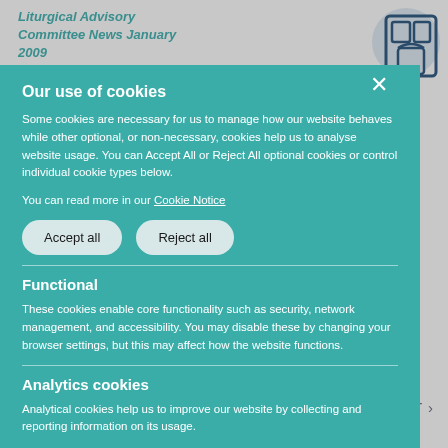[Figure (logo): Circular logo with geometric/architectural pattern in dark blue on grey background, top right corner]
Liturgical Advisory Committee News January 2009
...launched in Dublin and Belfast
Our use of cookies
Some cookies are necessary for us to manage how our website behaves while other optional, or non-necessary, cookies help us to analyse website usage. You can Accept All or Reject All optional cookies or control individual cookie types below.
You can read more in our Cookie Notice
Accept all   Reject all
Functional
These cookies enable core functionality such as security, network management, and accessibility. You may disable these by changing your browser settings, but this may affect how the website functions.
Analytics cookies
Analytical cookies help us to improve our website by collecting and reporting information on its usage.
NEXT ›